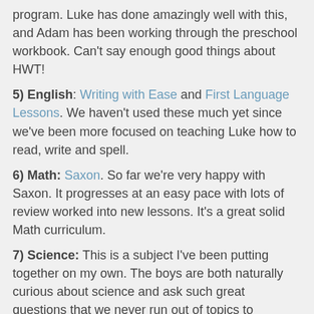program. Luke has done amazingly well with this, and Adam has been working through the preschool workbook. Can't say enough good things about HWT!
5) English: Writing with Ease and First Language Lessons. We haven't used these much yet since we've been more focused on teaching Luke how to read, write and spell.
6) Math: Saxon. So far we're very happy with Saxon. It progresses at an easy pace with lots of review worked into new lessons. It's a great solid Math curriculum.
7) Science: This is a subject I've been putting together on my own. The boys are both naturally curious about science and ask such great questions that we never run out of topics to explore. We've been using the library and the internet as our primary resources. The science section is one of their absolute favorite areas of the library! We come home with bags and bags full of science books. (Good for learning, not so good for mom to have to lug home. Ha!) We also have quite a few general resources at home including several Usborne Internet Linked books as well as books of